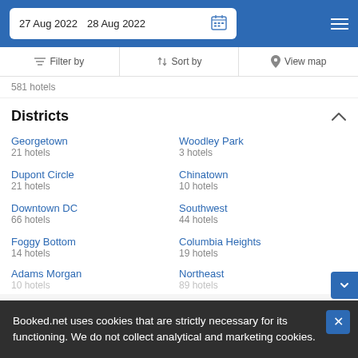27 Aug 2022  28 Aug 2022
Filter by   Sort by   View map
581 hotels
Districts
Georgetown
21 hotels
Woodley Park
3 hotels
Dupont Circle
21 hotels
Chinatown
10 hotels
Downtown DC
66 hotels
Southwest
44 hotels
Foggy Bottom
14 hotels
Columbia Heights
19 hotels
Adams Morgan
10 hotels
Northeast
89 hotels
Booked.net uses cookies that are strictly necessary for its functioning. We do not collect analytical and marketing cookies.